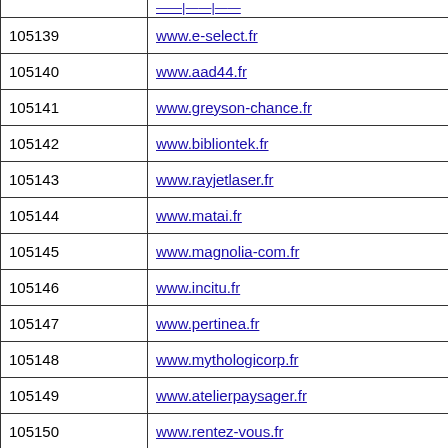| ID | URL |
| --- | --- |
| 105139 | www.e-select.fr |
| 105140 | www.aad44.fr |
| 105141 | www.greyson-chance.fr |
| 105142 | www.bibliontek.fr |
| 105143 | www.rayjetlaser.fr |
| 105144 | www.matai.fr |
| 105145 | www.magnolia-com.fr |
| 105146 | www.incitu.fr |
| 105147 | www.pertinea.fr |
| 105148 | www.mythologicorp.fr |
| 105149 | www.atelierpaysager.fr |
| 105150 | www.rentez-vous.fr |
| 105151 | www.telecogroup.fr |
| 105152 | www.atelierevenement.fr |
| 105153 | www.nebulose.fr |